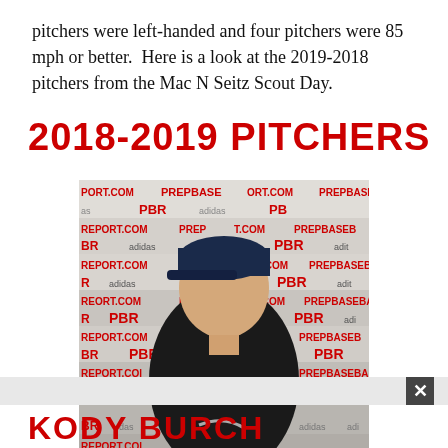pitchers were left-handed and four pitchers were 85 mph or better.  Here is a look at the 2019-2018 pitchers from the Mac N Seitz Scout Day.
2018-2019 PITCHERS
[Figure (photo): Headshot photo of a young baseball player wearing a black Nike shirt with PG logo and a blue baseball cap, posed in front of a PBR/PrepBaseballReport backdrop with adidas logos.]
KODY BURCH